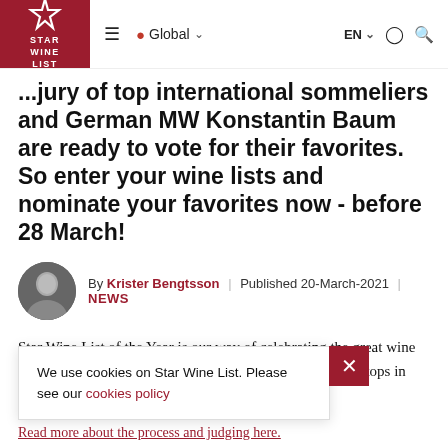Star Wine List — Global EN
...jury of top international sommeliers and German MW Konstantin Baum are ready to vote for their favorites. So enter your wine lists and nominate your favorites now - before 28 March!
By Krister Bengtsson | Published 20-March-2021 | NEWS
Star Wine List of the Year is our way of celebrating the great wine lists of the world and the teams behind them. After eight stops in Europe and Asia, we are now inviti...
We use cookies on Star Wine List. Please see our cookies policy
Read more about the process and judging here.